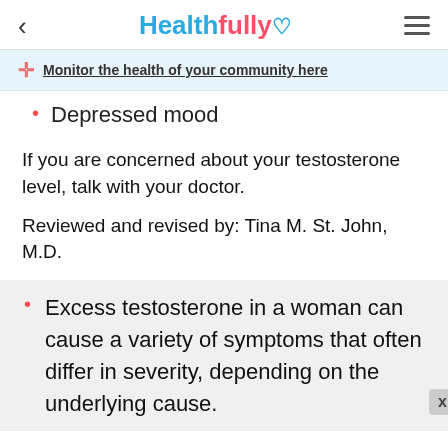Healthfully
Monitor the health of your community here
Depressed mood
If you are concerned about your testosterone level, talk with your doctor.
Reviewed and revised by: Tina M. St. John, M.D.
Excess testosterone in a woman can cause a variety of symptoms that often differ in severity, depending on the underlying cause.